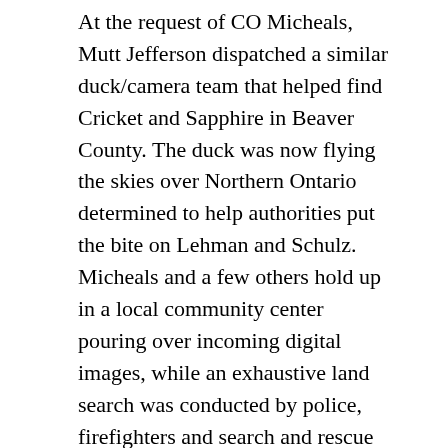At the request of CO Micheals, Mutt Jefferson dispatched a similar duck/camera team that helped find Cricket and Sapphire in Beaver County. The duck was now flying the skies over Northern Ontario determined to help authorities put the bite on Lehman and Schulz. Micheals and a few others hold up in a local community center pouring over incoming digital images, while an exhaustive land search was conducted by police, firefighters and search and rescue personnel.
On the third day into the search a light dusting of snow covered the area and it was this occurrence that led Micheals to revisit some photographs he examined earlier. Being intimately familiar with the area Micheals had